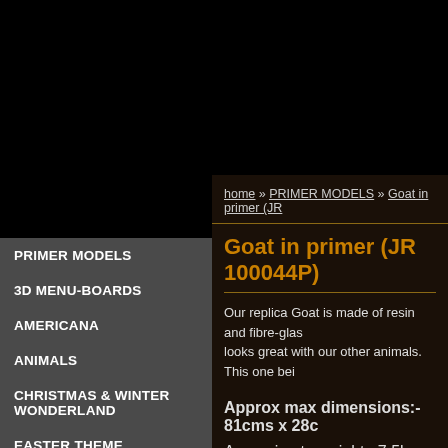home » PRIMER MODELS » Goat in primer (JR 100044P)
Goat in primer (JR 100044P)
Our replica Goat is made of resin and fibre-glass and looks great with our other animals. This one bei
PRIMER MODELS
3D MENU-BOARDS
AMERICANA
ANIMALS
CHRISTMAS & WINTER WONDERLAND
EASTER THEME
EGYPTIAN THEME
FARM & GARDEN THEME
Approx max dimensions:-  81cms x 28c
Approximate weight:  7.5kgs
This is an ideal POS model for trade-shows, exh cheese. The Goat has a textured resin surface w
The mould fits into a frame or wall...